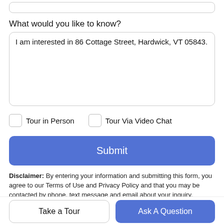What would you like to know?
I am interested in 86 Cottage Street, Hardwick, VT 05843.
Tour in Person
Tour Via Video Chat
Submit
Disclaimer: By entering your information and submitting this form, you agree to our Terms of Use and Privacy Policy and that you may be contacted by phone, text message and email about your inquiry.
Take a Tour
Ask A Question